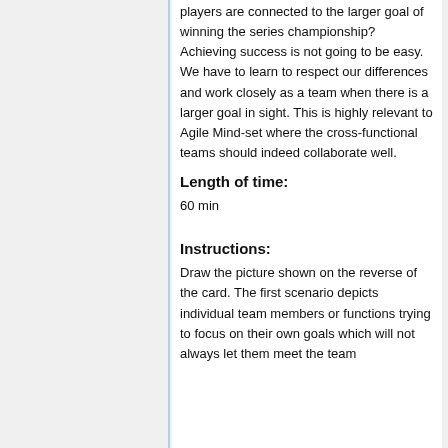players are connected to the larger goal of winning the series championship? Achieving success is not going to be easy. We have to learn to respect our differences and work closely as a team when there is a larger goal in sight. This is highly relevant to Agile Mind-set where the cross-functional teams should indeed collaborate well.
Length of time:
60 min
Instructions:
Draw the picture shown on the reverse of the card. The first scenario depicts individual team members or functions trying to focus on their own goals which will not always let them meet the team